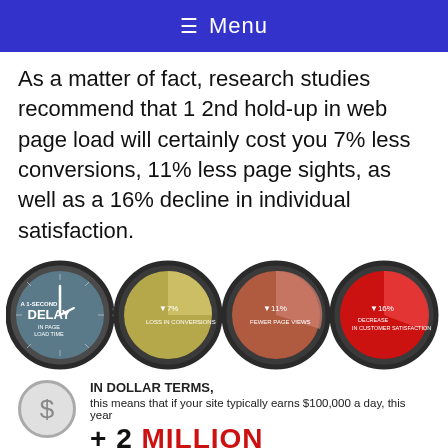≡ Menu
As a matter of fact, research studies recommend that 1 2nd hold-up in web page load will certainly cost you 7% less conversions, 11% less page sights, as well as a 16% decline in individual satisfaction.
[Figure (infographic): Four circular icons showing: A 1-SECOND DELAY = (clock graphic), 7% LOSS IN CONVERSIONS (gold pie), 11% FEWER PAGE VIEWS (terracotta pie), 16% DECREASE IN CUSTOMER SATISFACTION (red pie)]
IN DOLLAR TERMS, this means that if your site typically earns $100,000 a day, this year